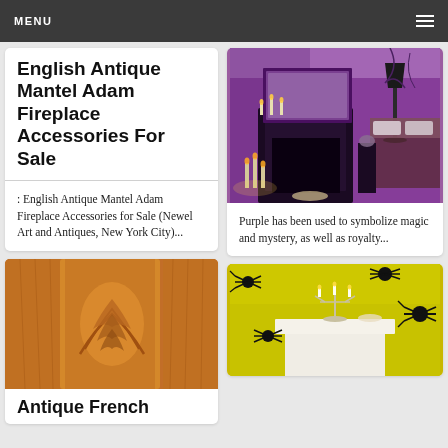MENU
English Antique Mantel Adam Fireplace Accessories For Sale
: English Antique Mantel Adam Fireplace Accessories for Sale (Newel Art and Antiques, New York City)...
[Figure (photo): Purple bedroom with ornate dark fireplace mantel, candles, and wall decorations]
Purple has been used to symbolize magic and mystery, as well as royalty...
[Figure (photo): Close-up of ornate antique French wooden furniture carving detail in orange/amber wood]
Antique French
[Figure (photo): Yellow/green wall with black spider decorations and white candelabra on mantel]